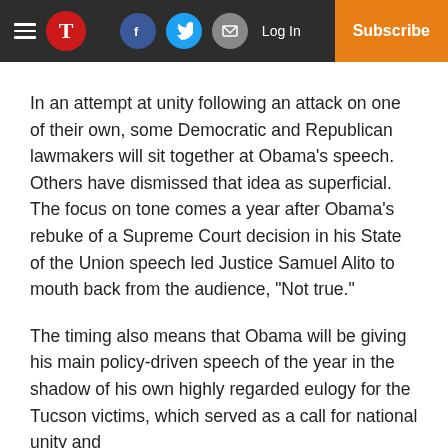T | Log In | Subscribe
In an attempt at unity following an attack on one of their own, some Democratic and Republican lawmakers will sit together at Obama's speech. Others have dismissed that idea as superficial. The focus on tone comes a year after Obama's rebuke of a Supreme Court decision in his State of the Union speech led Justice Samuel Alito to mouth back from the audience, “Not true.”
The timing also means that Obama will be giving his main policy-driven speech of the year in the shadow of his own highly regarded eulogy for the Tucson victims, which served as a call for national unity and